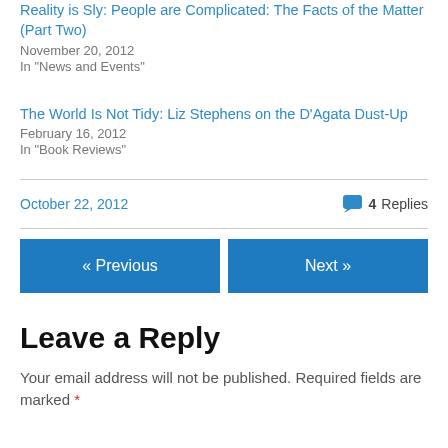Reality is Sly: People are Complicated: The Facts of the Matter (Part Two)
November 20, 2012
In "News and Events"
The World Is Not Tidy: Liz Stephens on the D'Agata Dust-Up
February 16, 2012
In "Book Reviews"
October 22, 2012
4 Replies
« Previous
Next »
Leave a Reply
Your email address will not be published. Required fields are marked *